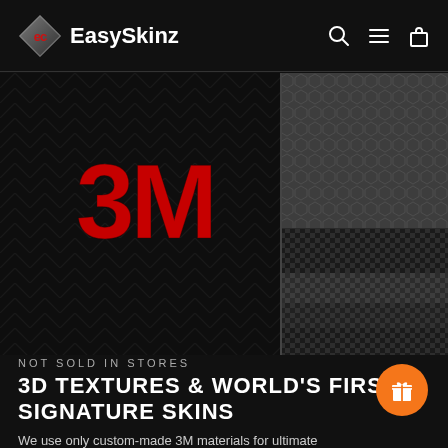EasySkinz
[Figure (photo): Two side-by-side product material texture photos: left shows dark chevron/zigzag pattern with large red 3M logo; right shows dark metallic hexagonal and carbon fiber weave textures]
NOT SOLD IN STORES
3D TEXTURES & WORLD'S FIRST SIGNATURE SKINS
We use only custom-made 3M materials for ultimate